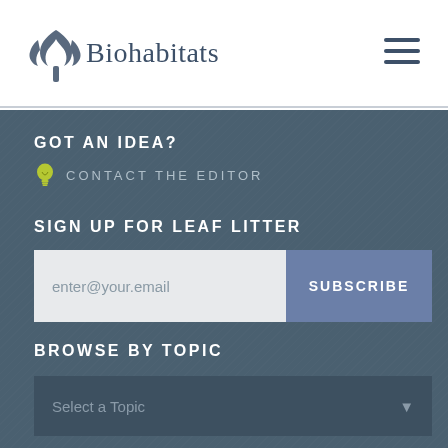Biohabitats
GOT AN IDEA?
CONTACT THE EDITOR
SIGN UP FOR LEAF LITTER
enter@your.email
SUBSCRIBE
BROWSE BY TOPIC
Select a Topic